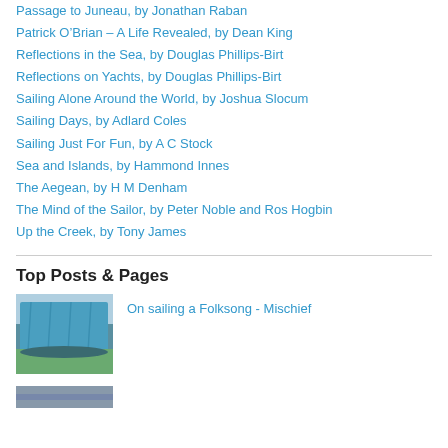Passage to Juneau, by Jonathan Raban
Patrick O'Brian – A Life Revealed, by Dean King
Reflections in the Sea, by Douglas Phillips-Birt
Reflections on Yachts, by Douglas Phillips-Birt
Sailing Alone Around the World, by Joshua Slocum
Sailing Days, by Adlard Coles
Sailing Just For Fun, by A C Stock
Sea and Islands, by Hammond Innes
The Aegean, by H M Denham
The Mind of the Sailor, by Peter Noble and Ros Hogbin
Up the Creek, by Tony James
Top Posts & Pages
[Figure (photo): Blue tarpaulin covered boat on grass, side view]
On sailing a Folksong - Mischief
[Figure (photo): Partial photo at bottom of page, cut off]